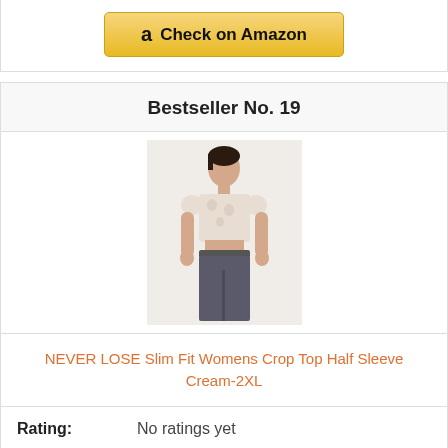[Figure (other): Check on Amazon button with Amazon logo 'a' icon, golden/yellow gradient button]
Bestseller No. 19
[Figure (photo): Woman wearing a cream/white slim fit crop top with half sleeves and dark grey jeans, standing facing forward]
NEVER LOSE Slim Fit Womens Crop Top Half Sleeve Cream-2XL
Rating: No ratings yet
[Figure (other): Check on Amazon button (partial, bottom of page)]